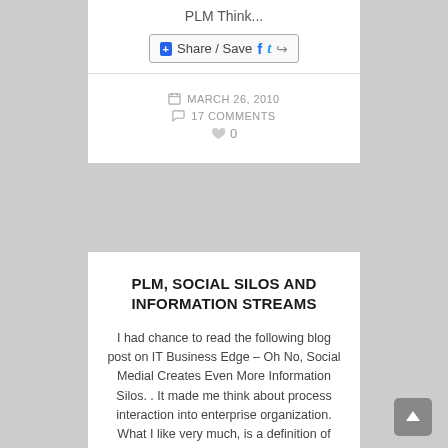PLM Think...
[Figure (other): Share / Save social sharing button with Facebook, Twitter and share icons]
MARCH 26, 2010
17 COMMENTS
0
PLM, SOCIAL SILOS AND INFORMATION STREAMS
I had chance to read the following blog post on IT Business Edge – Oh No, Social Medial Creates Even More Information Silos. . It made me think about process interaction into enterprise organization. What I like very much, is a definition of social channels. This is a short quote...